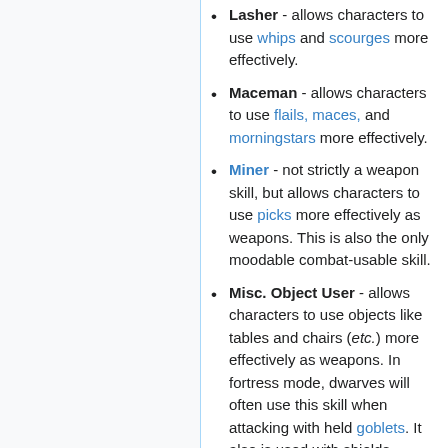Lasher - allows characters to use whips and scourges more effectively.
Maceman - allows characters to use flails, maces, and morningstars more effectively.
Miner - not strictly a weapon skill, but allows characters to use picks more effectively as weapons. This is also the only moodable combat-usable skill.
Misc. Object User - allows characters to use objects like tables and chairs (etc.) more effectively as weapons. In fortress mode, dwarves will often use this skill when attacking with held goblets. It also is used with shields, making it useful if a military